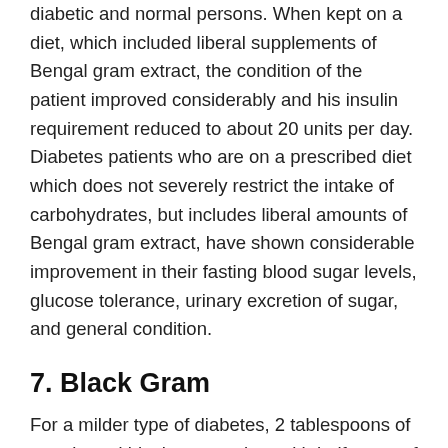diabetic and normal persons. When kept on a diet, which included liberal supplements of Bengal gram extract, the condition of the patient improved considerably and his insulin requirement reduced to about 20 units per day. Diabetes patients who are on a prescribed diet which does not severely restrict the intake of carbohydrates, but includes liberal amounts of Bengal gram extract, have shown considerable improvement in their fasting blood sugar levels, glucose tolerance, urinary excretion of sugar, and general condition.
7. Black Gram
For a milder type of diabetes, 2 tablespoons of germinated black gram, taken with half a cup of fresh bitter gourd juice and a teaspoon of honey, is said to be helpful. It should be taken once daily for three to four months. Try to cut carbohydrates out of your diet. Even in severe cases,